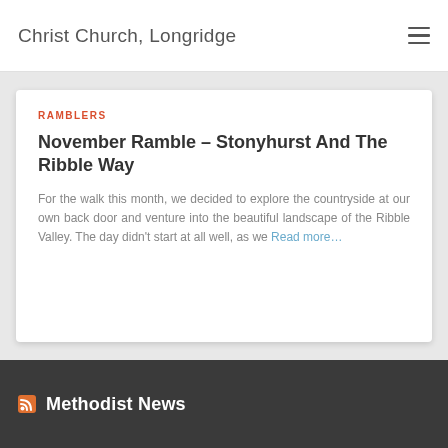Christ Church, Longridge
RAMBLERS
November Ramble – Stonyhurst And The Ribble Way
For the walk this month, we decided to explore the countryside at our own back door and venture into the beautiful landscape of the Ribble Valley. The day didn't start at all well, as we Read more…
Methodist News